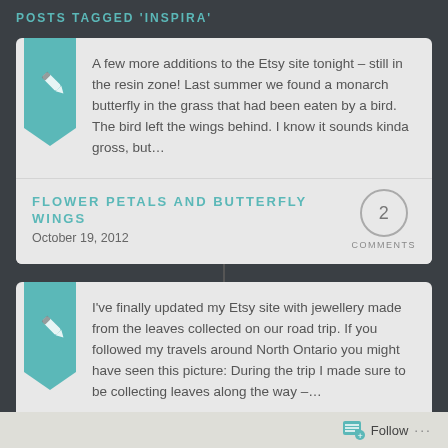POSTS TAGGED 'INSPIRA'
A few more additions to the Etsy site tonight – still in the resin zone! Last summer we found a monarch butterfly in the grass that had been eaten by a bird. The bird left the wings behind. I know it sounds kinda gross, but…
FLOWER PETALS AND BUTTERFLY WINGS
October 19, 2012
2 COMMENTS
I've finally updated my Etsy site with jewellery made from the leaves collected on our road trip. If you followed my travels around North Ontario you might have seen this picture: During the trip I made sure to be collecting leaves along the way –…
AN ETSY UPDATE AT LAST
October 17, 2012